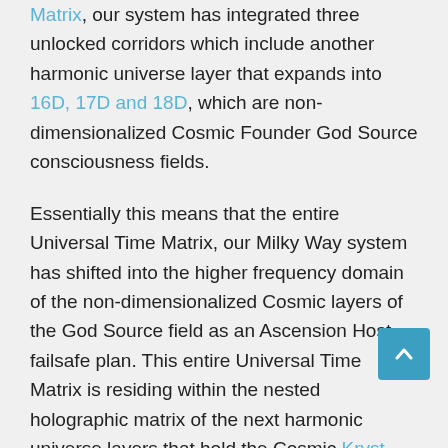Matrix, our system has integrated three unlocked corridors which include another harmonic universe layer that expands into 16D, 17D and 18D, which are non-dimensionalized Cosmic Founder God Source consciousness fields.

Essentially this means that the entire Universal Time Matrix, our Milky Way system has shifted into the higher frequency domain of the non-dimensionalized Cosmic layers of the God Source field as an Ascension Host failsafe plan. This entire Universal Time Matrix is residing within the nested holographic matrix of the next harmonic universe layers that hold the Cosmic Kryst-Krystallah divine blueprint from within the God Worlds. The Personal Christos identity will reconfigure the plasma orb body from within all our energy centers to the